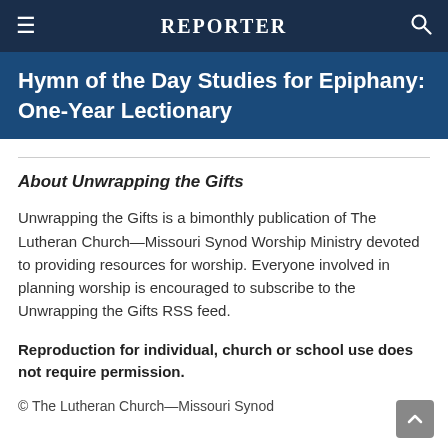REPORTER
Hymn of the Day Studies for Epiphany: One-Year Lectionary
About Unwrapping the Gifts
Unwrapping the Gifts is a bimonthly publication of The Lutheran Church—Missouri Synod Worship Ministry devoted to providing resources for worship. Everyone involved in planning worship is encouraged to subscribe to the Unwrapping the Gifts RSS feed.
Reproduction for individual, church or school use does not require permission.
© The Lutheran Church—Missouri Synod